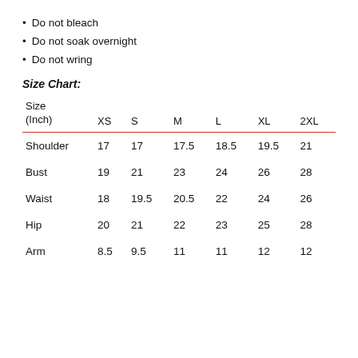Do not bleach
Do not soak overnight
Do not wring
Size Chart:
| Size (Inch) | XS | S | M | L | XL | 2XL |
| --- | --- | --- | --- | --- | --- | --- |
| Shoulder | 17 | 17 | 17.5 | 18.5 | 19.5 | 21 |
| Bust | 19 | 21 | 23 | 24 | 26 | 28 |
| Waist | 18 | 19.5 | 20.5 | 22 | 24 | 26 |
| Hip | 20 | 21 | 22 | 23 | 25 | 28 |
| Arm | 8.5 | 9.5 | 11 | 11 | 12 | 12 |